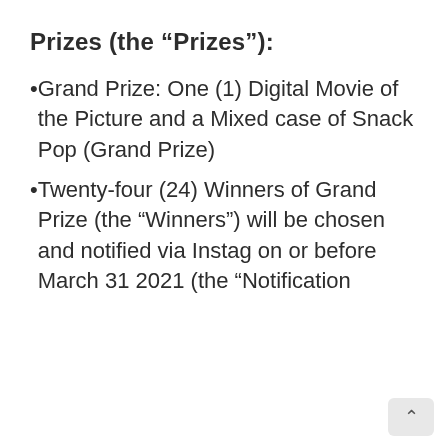Prizes (the “Prizes”):
Grand Prize: One (1) Digital Movie of the Picture and a Mixed case of Snack Pop (Grand Prize)
Twenty-four (24) Winners of Grand Prize (the “Winners”) will be chosen and notified via Instag on or before March 31 2021 (the “Notification